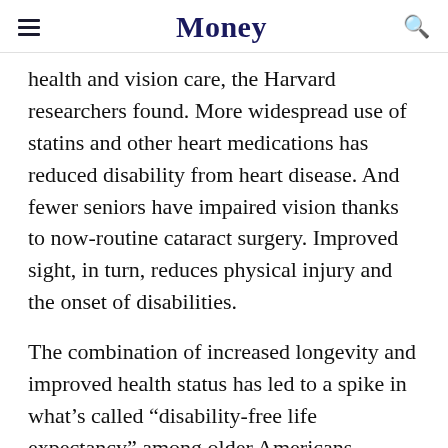Money
health and vision care, the Harvard researchers found. More widespread use of statins and other heart medications has reduced disability from heart disease. And fewer seniors have impaired vision thanks to now-routine cataract surgery. Improved sight, in turn, reduces physical injury and the onset of disabilities.
The combination of increased longevity and improved health status has led to a spike in what's called “disability-free life expectancy” among older Americans.